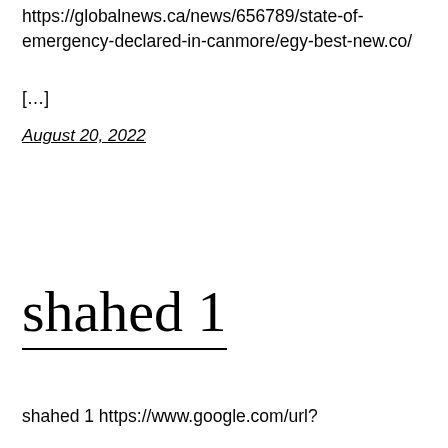https://globalnews.ca/news/656789/state-of-emergency-declared-in-canmore/egy-best-new.co/
[…]
August 20, 2022
shahed 1
shahed 1 https://www.google.com/url?